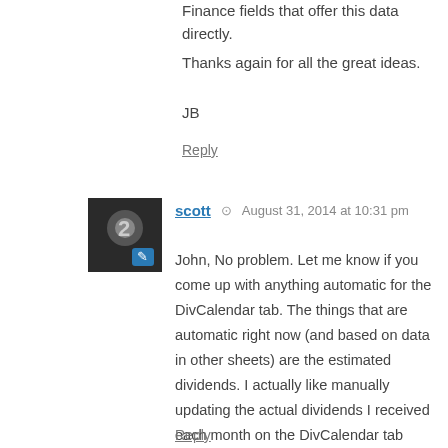Finance fields that offer this data directly.
Thanks again for all the great ideas.
JB
Reply
scott  August 31, 2014 at 10:31 pm
John, No problem. Let me know if you come up with anything automatic for the DivCalendar tab. The things that are automatic right now (and based on data in other sheets) are the estimated dividends. I actually like manually updating the actual dividends I received each month on the DivCalendar tab because there's something satisfying about putting in that number.

The importXML function is very powerful. I just started learning about it. The tutorial I used was here:
https://www.distilled.net/blog/distilled/guide-to-google-docs-importxml/
Reply